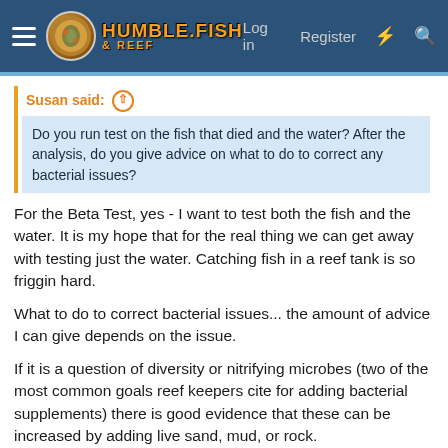Humble.Fish & Reef — Log in   Register
Susan said: ↑
Do you run test on the fish that died and the water? After the analysis, do you give advice on what to do to correct any bacterial issues?
For the Beta Test, yes - I want to test both the fish and the water. It is my hope that for the real thing we can get away with testing just the water. Catching fish in a reef tank is so friggin hard.
What to do to correct bacterial issues... the amount of advice I can give depends on the issue.
If it is a question of diversity or nitrifying microbes (two of the most common goals reef keepers cite for adding bacterial supplements) there is good evidence that these can be increased by adding live sand, mud, or rock.
If a particular family of microbes if present at abnormally high or